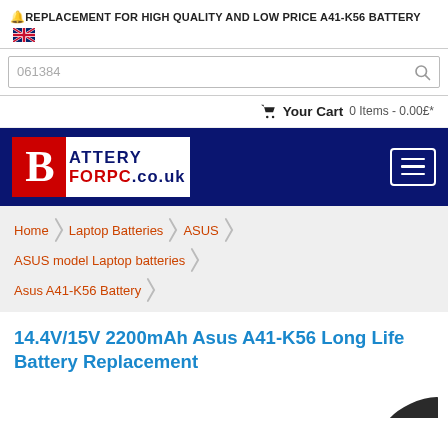🔔REPLACEMENT FOR HIGH QUALITY AND LOW PRICE A41-K56 BATTERY 🇬🇧
061384
Your Cart  0 Items - 0.00£*
[Figure (logo): BatteryForPC.co.uk logo with red B on left, BATTERY in dark blue and FORPC in red, .co.uk in dark blue, on white background inside dark navy header with hamburger menu button]
Home
Laptop Batteries
ASUS
ASUS model Laptop batteries
Asus A41-K56 Battery
14.4V/15V 2200mAh Asus A41-K56 Long Life Battery Replacement
[Figure (photo): Partial view of a black laptop battery at bottom right of page]